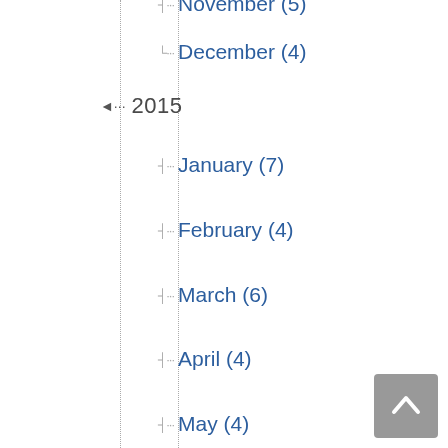November (5)
December (4)
2015
January (7)
February (4)
March (6)
April (4)
May (4)
June (5)
July (4)
August (4)
September (5)
October (4)
November (4)
December (5)
2014
January (4)
February (4)